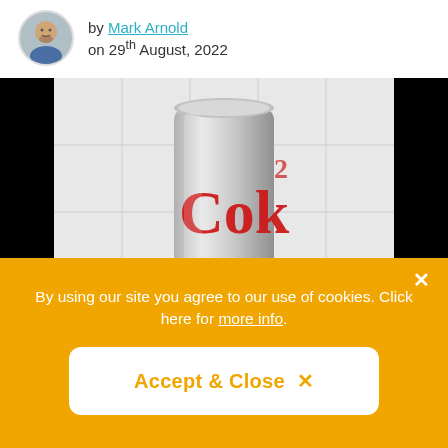by Mark Arnold on 29th August, 2022
[Figure (photo): A silver Diet Coke can with red 'Coke' branding, photographed against white tiles]
By using our site you agree to our use of cookies. Click here for more info.
Accept & Close ×